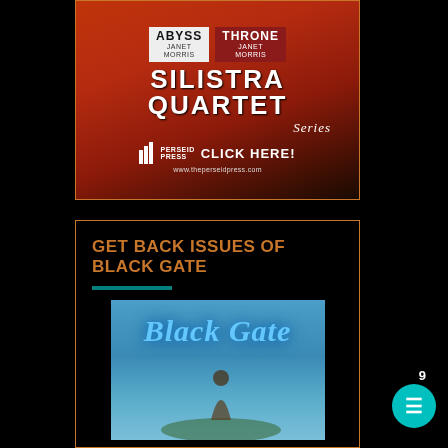[Figure (illustration): Perseid Press advertisement for the Silistra Quartet Series by Janet Morris, featuring book titles 'Abyss' and 'Throne', with 'SILISTRA QUARTET Series' text, Perseid Press logo, CLICK HERE button, and website www.theperseidpress.com, on a red/orange gradient background.]
GET BACK ISSUES OF BLACK GATE
[Figure (illustration): Black Gate magazine cover image showing 'Black Gate' title text in glowing blue fantasy lettering against a sky blue background with a figure below.]